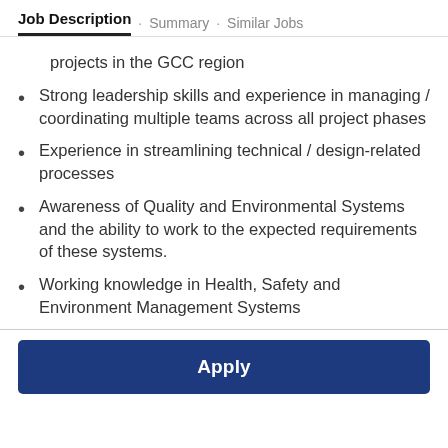Job Description · Summary · Similar Jobs
projects in the GCC region
Strong leadership skills and experience in managing / coordinating multiple teams across all project phases
Experience in streamlining technical / design-related processes
Awareness of Quality and Environmental Systems and the ability to work to the expected requirements of these systems.
Working knowledge in Health, Safety and Environment Management Systems
Apply